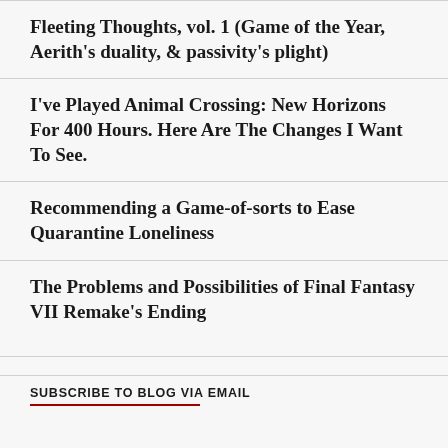Fleeting Thoughts, vol. 1 (Game of the Year, Aerith's duality, & passivity's plight)
I've Played Animal Crossing: New Horizons For 400 Hours. Here Are The Changes I Want To See.
Recommending a Game-of-sorts to Ease Quarantine Loneliness
The Problems and Possibilities of Final Fantasy VII Remake's Ending
SUBSCRIBE TO BLOG VIA EMAIL